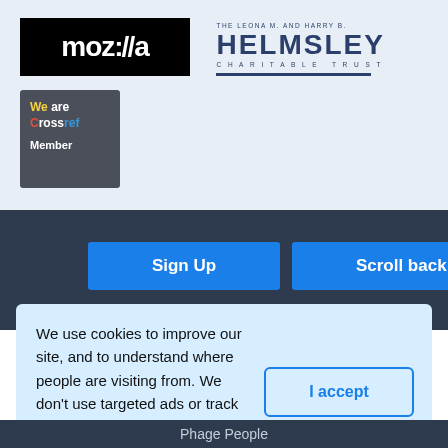[Figure (logo): Mozilla logo - white text on black background]
[Figure (logo): The Leona M. and Harry B. Helmsley Charitable Trust logo]
[Figure (logo): We are Crossref Member badge]
Sign Up
Scroll back up
We use cookies to improve our site, and to understand where people are visiting from. We don’t use targeted ads or track personal information. Read our site policies here.
I accept
Phage People